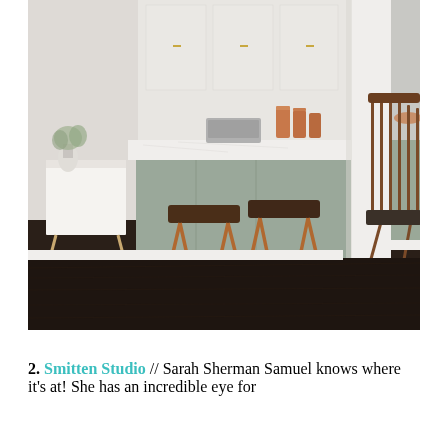[Figure (photo): Interior photo of a modern kitchen and dining area with dark hardwood floors, white walls, a kitchen island with white marble countertop, two walnut bar stools with copper legs, gray lower cabinets, white upper cabinets with gold hardware, copper accessories, a decorative rug on the left, a mid-century modern wooden chair with dark cushion on the right, and a cowhide rug.]
2. Smitten Studio // Sarah Sherman Samuel knows where it's at! She has an incredible eye for